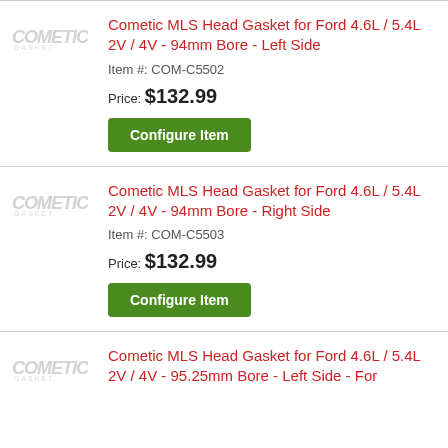[Figure (logo): Cometic Gasket logo - stylized italic text 'COMETIC' in gray]
Cometic MLS Head Gasket for Ford 4.6L / 5.4L 2V / 4V - 94mm Bore - Left Side
Item #: COM-C5502
Price: $132.99
Configure Item
[Figure (logo): Cometic Gasket logo - stylized italic text 'COMETIC' in gray]
Cometic MLS Head Gasket for Ford 4.6L / 5.4L 2V / 4V - 94mm Bore - Right Side
Item #: COM-C5503
Price: $132.99
Configure Item
[Figure (logo): Cometic Gasket logo - stylized italic text 'COMETIC' in gray]
Cometic MLS Head Gasket for Ford 4.6L / 5.4L 2V / 4V - 95.25mm Bore - Left Side - For...